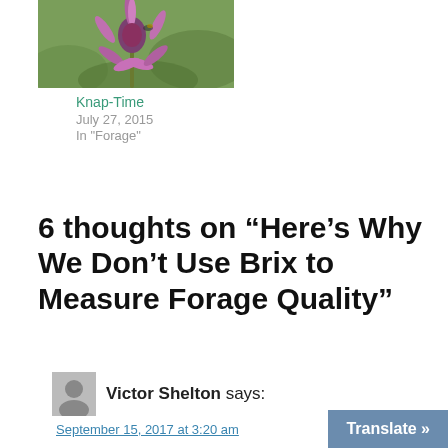[Figure (photo): Purple knapweed flower with spiky petals against green background]
Knap-Time
July 27, 2015
In "Forage"
6 thoughts on “Here’s Why We Don’t Use Brix to Measure Forage Quality”
Victor Shelton says:
September 15, 2017 at 3:20 am
Good article. I knew brix readings te...